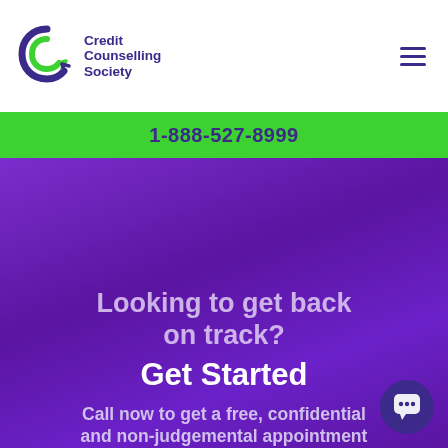[Figure (logo): Credit Counselling Society logo with purple C-arrow icon and purple text 'Credit Counselling Society']
[Figure (other): Hamburger menu icon (three horizontal purple lines) in top-right corner]
1-888-527-8999
[Figure (photo): Purple gradient hero background with blurred orb lighting effect]
Looking to get back on track?
Get Started
Call now to get a free, confidential and non-judgemental appointment